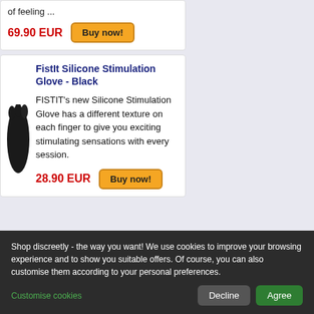of feeling ...
69.90 EUR
Buy now!
FistIt Silicone Stimulation Glove - Black
FISTIT's new Silicone Stimulation Glove has a different texture on each finger to give you exciting stimulating sensations with every session.
28.90 EUR
Buy now!
Dream of Cup MX - Grip Vagina Masturbator
Shop discreetly - the way you want! We use cookies to improve your browsing experience and to show you suitable offers. Of course, you can also customise them according to your personal preferences.
Customise cookies
Decline
Agree